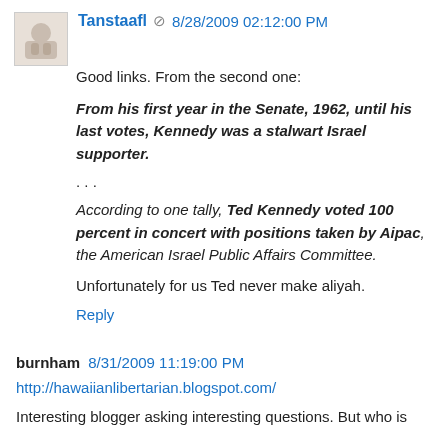Tanstaafl 🚫 8/28/2009 02:12:00 PM
Good links. From the second one:
From his first year in the Senate, 1962, until his last votes, Kennedy was a stalwart Israel supporter.
. . .
According to one tally, Ted Kennedy voted 100 percent in concert with positions taken by Aipac, the American Israel Public Affairs Committee.
Unfortunately for us Ted never make aliyah.
Reply
burnham 8/31/2009 11:19:00 PM
http://hawaiianlibertarian.blogspot.com/
Interesting blogger asking interesting questions. But who is